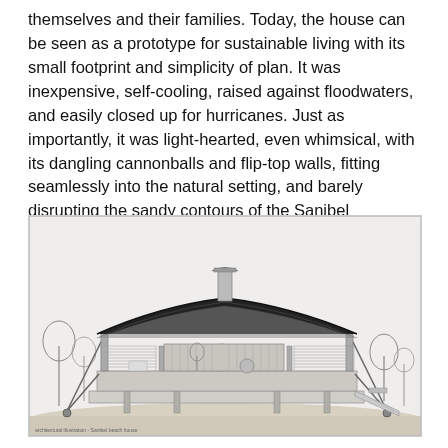themselves and their families. Today, the house can be seen as a prototype for sustainable living with its small footprint and simplicity of plan. It was inexpensive, self-cooling, raised against floodwaters, and easily closed up for hurricanes. Just as importantly, it was light-hearted, even whimsical, with its dangling cannonballs and flip-top walls, fitting seamlessly into the natural setting, and barely disrupting the sandy contours of the Sanibel beachfront.
[Figure (illustration): Black and white architectural drawing/illustration of a modernist beach house with a curved saddle roof, raised on pilotis/stilts, with horizontal louvered walls, a central chimney/ventilation stack, and diagonal tension cables. The structure appears to be on a sandy beachfront.]